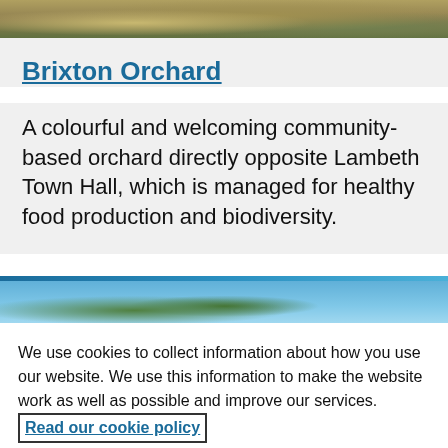[Figure (photo): Top portion of a photo showing grassy or plant-like vegetation with brown and green tones]
Brixton Orchard
A colourful and welcoming community-based orchard directly opposite Lambeth Town Hall, which is managed for healthy food production and biodiversity.
[Figure (photo): Bottom portion of a photo showing trees and blue sky with a teal/blue header strip]
We use cookies to collect information about how you use our website. We use this information to make the website work as well as possible and improve our services.  Read our cookie policy
Change your cookie settings
Accept all cookies